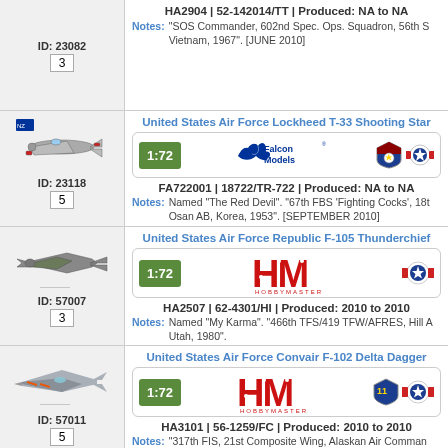| Image/ID | Details |
| --- | --- |
| ID: 23082
3 | HA2904 | 52-142014/TT | Produced: NA to NA
Notes: "SOS Commander, 602nd Spec. Ops. Squadron, 56th S Vietnam, 1967". [JUNE 2010] |
| ID: 23118
5 | United States Air Force Lockheed T-33 Shooting Star
FA722001 | 18722/TR-722 | Produced: NA to NA
Notes: Named "The Red Devil". "67th FBS 'Fighting Cocks', 18t Osan AB, Korea, 1953". [SEPTEMBER 2010] |
| ID: 57007
3 | United States Air Force Republic F-105 Thunderchief
HA2507 | 62-4301/HI | Produced: 2010 to 2010
Notes: Named "My Karma". "466th TFS/419 TFW/AFRES, Hill A Utah, 1980". |
| ID: 57011
5 | United States Air Force Convair F-102 Delta Dagger
HA3101 | 56-1259/FC | Produced: 2010 to 2010
Notes: "317th FIS, 21st Composite Wing, Alaskan Air Comman... |